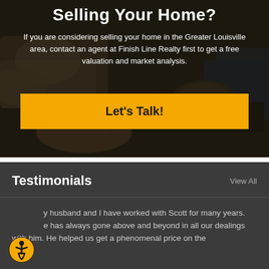[Figure (photo): Dark background photo of a furnished living room with couches and pillows, overlaid with a dark semi-transparent tint.]
Selling Your Home?
If you are considering selling your home in the Greater Louisville area, contact an agent at Finish Line Realty first to get a free valuation and market analysis.
Let's Talk!
Testimonials
View All
My husband and I have worked with Scott for many years. He has always gone above and beyond in all our dealings with him. He helped us get a phenomenal price on the